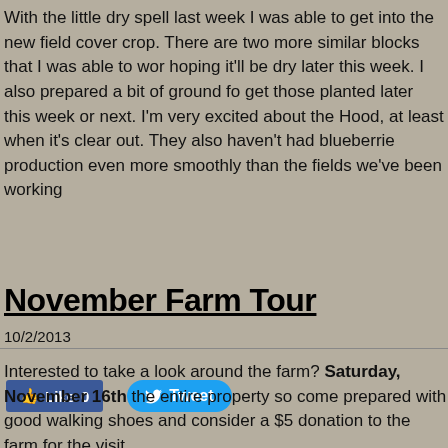With the little dry spell last week I was able to get into the new field cover crop. There are two more similar blocks that I was able to work hoping it'll be dry later this week. I also prepared a bit of ground for get those planted later this week or next. I'm very excited about the Hood, at least when it's clear out. They also haven't had blueberries production even more smoothly than the fields we've been working
[Figure (other): Facebook Like button showing 'Like 0' and a Twitter Tweet button]
November Farm Tour
10/2/2013
Interested to take a look around the farm? Saturday, November 16th the entire property so come prepared with good walking shoes and consider a $5 donation to the farm for the visit.